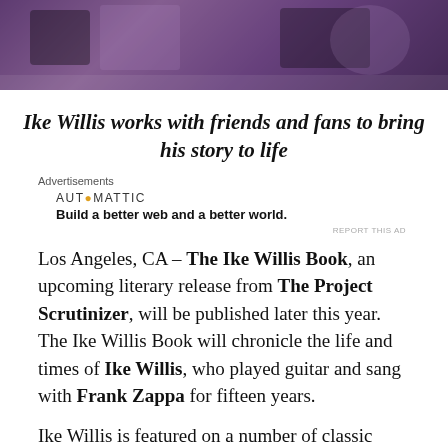[Figure (photo): Cropped photo showing a purple-toned scene, likely a music performance or event setting]
Ike Willis works with friends and fans to bring his story to life
Advertisements
AUTOMATTIC
Build a better web and a better world.
REPORT THIS AD
Los Angeles, CA – The Ike Willis Book, an upcoming literary release from The Project Scrutinizer, will be published later this year. The Ike Willis Book will chronicle the life and times of Ike Willis, who played guitar and sang with Frank Zappa for fifteen years.
Ike Willis is featured on a number of classic albums including Joe's Garage, Tinseltown Rebellion, You Are